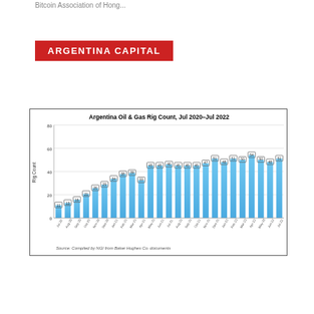Bitcoin Association of Hong...
ARGENTINA CAPITAL
[Figure (bar-chart): Argentina Oil & Gas Rig Count, Jul 2020–Jul 2022]
Source: Compiled by NGI from Baker Hughes Co. documents